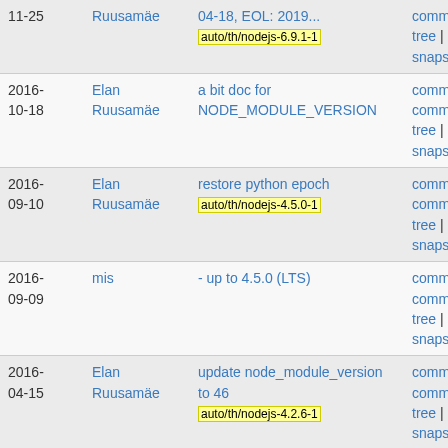| Date | Author | Message | Links |
| --- | --- | --- | --- |
| 11-25 | Ruusamäe | 04-18, EOL: 2019... auto/th/nodejs-6.9.1-1 | commitdiff | tree | snapshot |
| 2016-10-18 | Elan Ruusamäe | a bit doc for NODE_MODULE_VERSION | commit | commitdiff | tree | snapshot |
| 2016-09-10 | Elan Ruusamäe | restore python epoch auto/th/nodejs-4.5.0-1 | commit | commitdiff | tree | snapshot |
| 2016-09-09 | mis | - up to 4.5.0 (LTS) | commit | commitdiff | tree | snapshot |
| 2016-04-15 | Elan Ruusamäe | update node_module_version to 46 auto/th/nodejs-4.2.6-1 | commit | commitdiff | tree | snapshot |
| 2016-03-30 | Elan Ruusamäe | add 4.2.6 to th | commit | commitdiff | tree | |